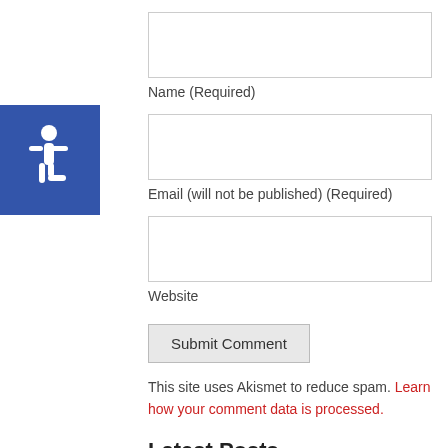[Figure (illustration): Accessibility icon — white wheelchair symbol on blue square background]
Name (Required)
Email (will not be published) (Required)
Website
Submit Comment
This site uses Akismet to reduce spam. Learn how your comment data is processed.
Latest Posts
Hackers access DoorDash data, T-